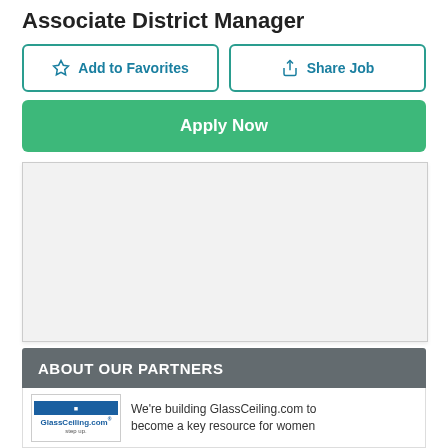Associate District Manager
Add to Favorites
Share Job
Apply Now
[Figure (other): Empty grey advertisement/content placeholder box]
ABOUT OUR PARTNERS
[Figure (logo): GlassCeiling.com logo with blue bar and 'step up' text]
We're building GlassCeiling.com to become a key resource for women